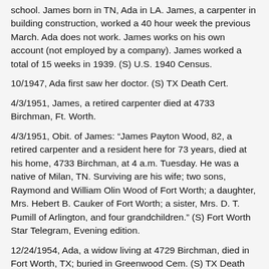school. James born in TN, Ada in LA. James, a carpenter in building construction, worked a 40 hour week the previous March. Ada does not work. James works on his own account (not employed by a company). James worked a total of 15 weeks in 1939. (S) U.S. 1940 Census.
10/1947, Ada first saw her doctor. (S) TX Death Cert.
4/3/1951, James, a retired carpenter died at 4733 Birchman, Ft. Worth.
4/3/1951, Obit. of James: “James Payton Wood, 82, a retired carpenter and a resident here for 73 years, died at his home, 4733 Birchman, at 4 a.m. Tuesday. He was a native of Milan, TN. Surviving are his wife; two sons, Raymond and William Olin Wood of Fort Worth; a daughter, Mrs. Hebert B. Cauker of Fort Worth; a sister, Mrs. D. T. Pumill of Arlington, and four grandchildren.” (S) Fort Worth Star Telegram, Evening edition.
12/24/1954, Ada, a widow living at 4729 Birchman, died in Fort Worth, TX; buried in Greenwood Cem. (S) TX Death Cert.